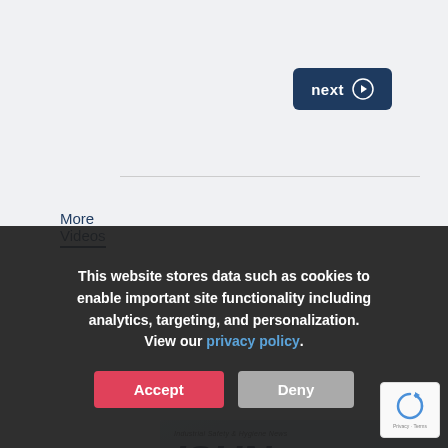next ➔
More Videos
[Figure (illustration): ISHN webinar banner for 'CONFINED SPACES – Are You Ready to Rescue?' with ISHN logo in dark blue italic font and 'webinar' in red italic, on a blue-grey gradient background.]
This website stores data such as cookies to enable important site functionality including analytics, targeting, and personalization. View our privacy policy.
Accept
Deny